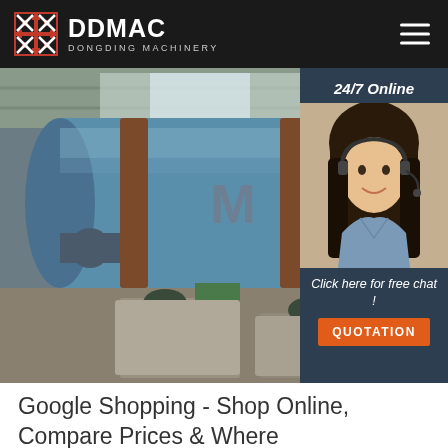DDMAC DONGDING MACHINERY
[Figure (photo): Industrial rotary drum machinery (large blue cylindrical dryer/kiln) inside a factory building, with a customer service agent overlay panel showing '24/7 Online', a woman with headset, 'Click here for free chat!' and a QUOTATION button]
Google Shopping - Shop Online, Compare Prices & Where